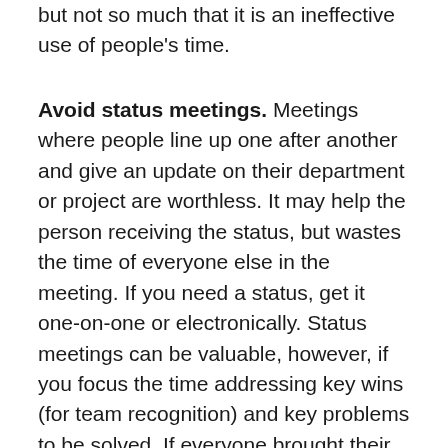but not so much that it is an ineffective use of people's time.
Avoid status meetings. Meetings where people line up one after another and give an update on their department or project are worthless. It may help the person receiving the status, but wastes the time of everyone else in the meeting. If you need a status, get it one-on-one or electronically. Status meetings can be valuable, however, if you focus the time addressing key wins (for team recognition) and key problems to be solved. If everyone brought their biggest challenge to the meeting, and the group helped solved them, that would be valuable. Or, if people's work impacts other people's work, focus the updates so those dependencies rise to the surface. Status meetings where people are uncovering collisions, dependencies, or are getting great ideas from the team